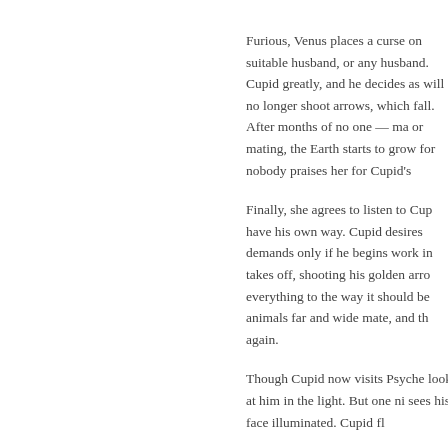Furious, Venus places a curse on suitable husband, or any husband. Cupid greatly, and he decides as will no longer shoot arrows, which fall. After months of no one — ma or mating, the Earth starts to grow for nobody praises her for Cupid's
Finally, she agrees to listen to Cup have his own way. Cupid desires demands only if he begins work in takes off, shooting his golden arro everything to the way it should be animals far and wide mate, and th again.
Though Cupid now visits Psyche look at him in the light. But one ni sees his face illuminated. Cupid fl